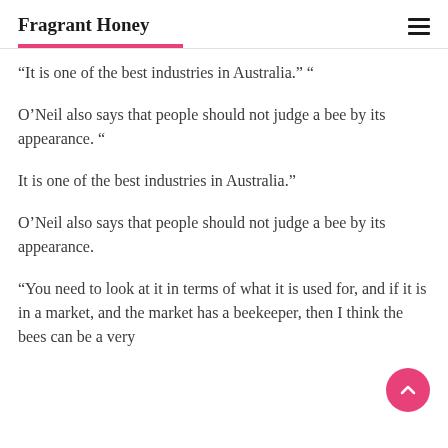Fragrant Honey
“It is one of the best industries in Australia.” “
O’Neil also says that people should not judge a bee by its appearance. “
It is one of the best industries in Australia.”
O’Neil also says that people should not judge a bee by its appearance.
“You need to look at it in terms of what it is used for, and if it is in a market, and the market has a beekeeper, then I think the bees can be a very